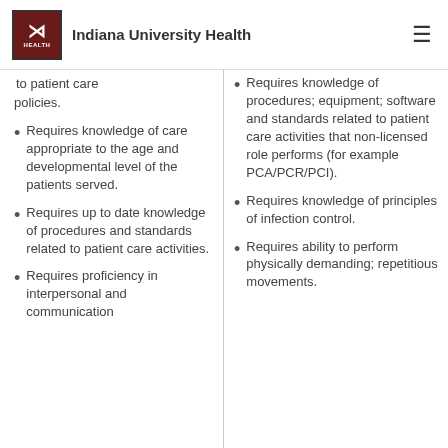Indiana University Health
to patient care policies.
Requires knowledge of care appropriate to the age and developmental level of the patients served.
Requires up to date knowledge of procedures and standards related to patient care activities.
Requires proficiency in interpersonal and communication
Requires knowledge of procedures; equipment; software and standards related to patient care activities that non-licensed role performs (for example PCA/PCR/PCI).
Requires knowledge of principles of infection control.
Requires ability to perform physically demanding; repetitious movements.